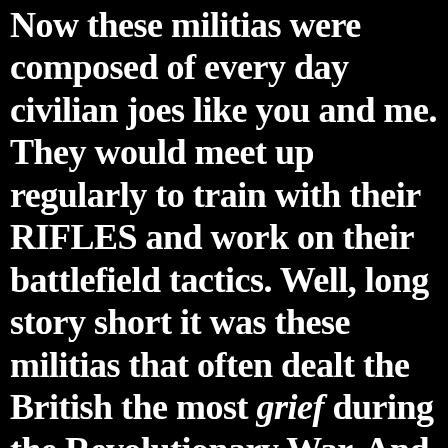Now these militias were composed of every day civilian joes like you and me. They would meet up regularly to train with their RIFLES and work on their battlefield tactics. Well, long story short it was these militias that often dealt the British the most grief during the Revolutionary War. And by "grief" I mean these militias not only frustrated the British Army brass by their tactics, but also Killed a great number of their soldiers. Answering the "how" of this is quite